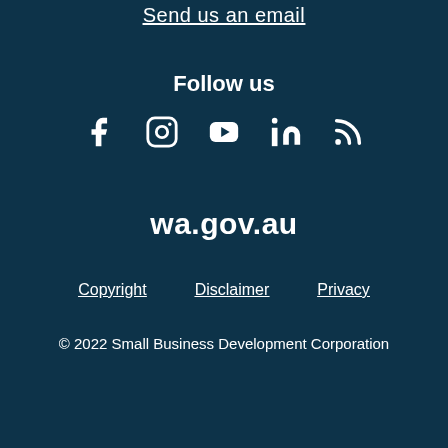Send us an email
Follow us
[Figure (infographic): Social media icons: Facebook, Instagram, YouTube, LinkedIn, RSS feed]
wa.gov.au
Copyright   Disclaimer   Privacy
© 2022 Small Business Development Corporation